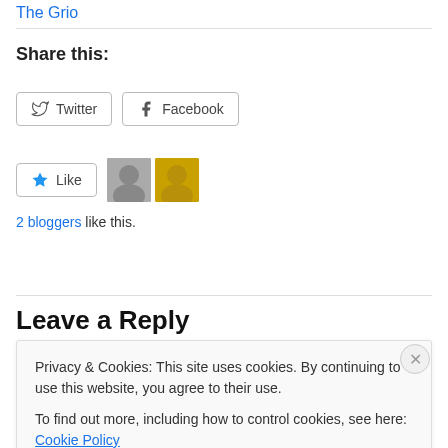The Grio
Share this:
[Figure (other): Social share buttons: Twitter and Facebook]
[Figure (other): Like button with star icon and two blogger avatars]
2 bloggers like this.
Leave a Reply
Privacy & Cookies: This site uses cookies. By continuing to use this website, you agree to their use. To find out more, including how to control cookies, see here: Cookie Policy